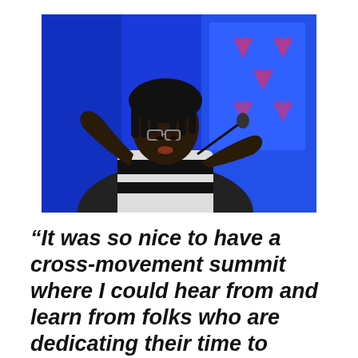[Figure (photo): A Black woman with dreadlocks and glasses speaks at a conference, gesturing with both hands raised. She wears a white and black striped top. Behind her is a bright blue backdrop and a podium microphone. A large screen with pink/red design elements is visible in the background.]
“It was so nice to have a cross-movement summit where I could hear from and learn from folks who are dedicating their time to movements which differ from but are absolutely